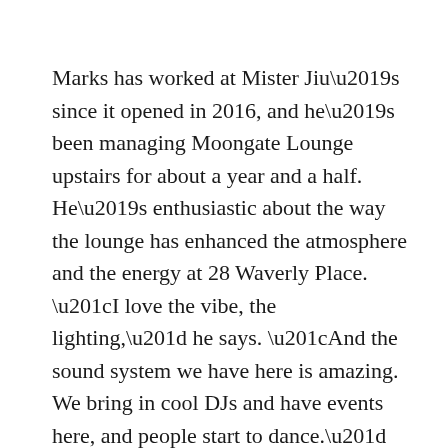Marks has worked at Mister Jiu’s since it opened in 2016, and he’s been managing Moongate Lounge upstairs for about a year and a half. He’s enthusiastic about the way the lounge has enhanced the atmosphere and the energy at 28 Waverly Place. “I love the vibe, the lighting,” he says. “And the sound system we have here is amazing. We bring in cool DJs and have events here, and people start to dance.”
Moongate Lounge is also a “nice date spot,” Marks continues, where people can enjoy a cocktail, along with bar snacks like focaccia, smoked olives, or spiced nuts. In his view, the